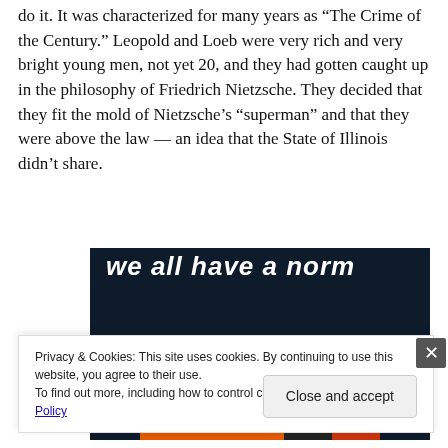do it. It was characterized for many years as “The Crime of the Century.” Leopold and Loeb were very rich and very bright young men, not yet 20, and they had gotten caught up in the philosophy of Friedrich Nietzsche. They decided that they fit the mold of Nietzsche’s “superman” and that they were above the law — an idea that the State of Illinois didn’t share.
[Figure (illustration): Dark navy background image with bold white italic text partially visible at top reading 'we all have a norm', a pink/mauve horizontal bar, a light grey circle, and an orange-red bar at the bottom.]
Privacy & Cookies: This site uses cookies. By continuing to use this website, you agree to their use.
To find out more, including how to control cookies, see here: Cookie Policy
Close and accept